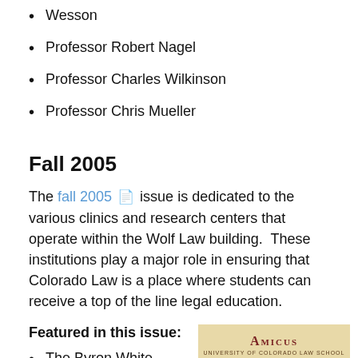Wesson
Professor Robert Nagel
Professor Charles Wilkinson
Professor Chris Mueller
Fall 2005
The fall 2005 [PDF icon] issue is dedicated to the various clinics and research centers that operate within the Wolf Law building.  These institutions play a major role in ensuring that Colorado Law is a place where students can receive a top of the line legal education.
Featured in this issue:
The Byron White
[Figure (illustration): Amicus University of Colorado Law School magazine cover with large decorative letters in gold/tan tones]